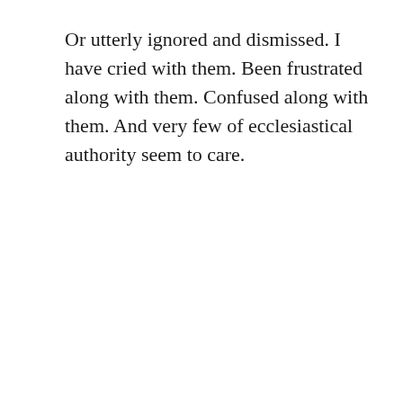Or utterly ignored and dismissed. I have cried with them. Been frustrated along with them. Confused along with them. And very few of ecclesiastical authority seem to care.